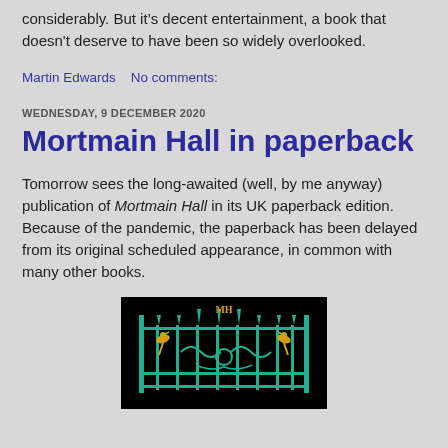considerably. But it’s decent entertainment, a book that doesn't deserve to have been so widely overlooked.
Martin Edwards    No comments:
WEDNESDAY, 9 DECEMBER 2020
Mortmain Hall in paperback
Tomorrow sees the long-awaited (well, by me anyway) publication of Mortmain Hall in its UK paperback edition. Because of the pandemic, the paperback has been delayed from its original scheduled appearance, in common with many other books.
[Figure (photo): Book cover image of Mortmain Hall showing an ornate gate design with gold and teal/green decorative ironwork featuring birds, on a black background, with MH monogram at top]